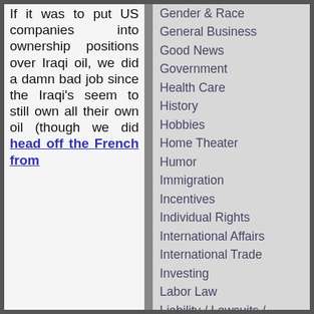If it was to put US companies into ownership positions over Iraqi oil, we did a damn bad job since the Iraqi's seem to still own all their own oil (though we did head off the French from
Gender & Race
General Business
Good News
Government
Health Care
History
Hobbies
Home Theater
Humor
Immigration
Incentives
Individual Rights
International Affairs
International Trade
Investing
Labor Law
Liability / Lawsuits / Insurance
Media and the Press
Military and War
model railroading
Movies & Entertainment